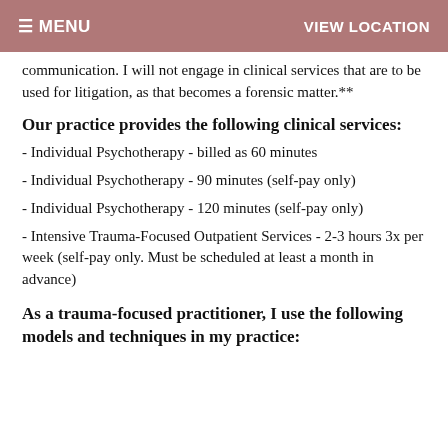☰ MENU    VIEW LOCATION
communication. I will not engage in clinical services that are to be used for litigation, as that becomes a forensic matter.**
Our practice provides the following clinical services:
- Individual Psychotherapy - billed as 60 minutes
- Individual Psychotherapy - 90 minutes (self-pay only)
- Individual Psychotherapy - 120 minutes (self-pay only)
- Intensive Trauma-Focused Outpatient Services - 2-3 hours 3x per week (self-pay only. Must be scheduled at least a month in advance)
As a trauma-focused practitioner, I use the following models and techniques in my practice: